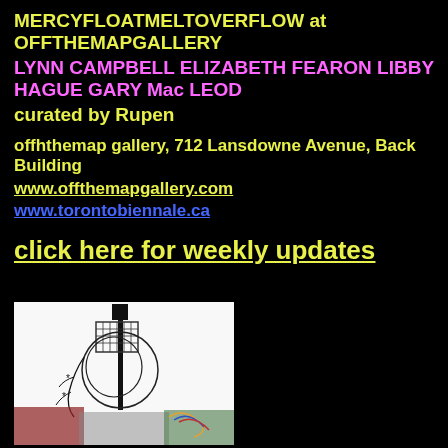MERCYFLOATMELTOVERFLOW at OFFTHEMAPGALLERY
LYNN CAMPBELL ELIZABETH FEARON LIBBY HAGUE GARY Mac LEOD
curated by Rupen
offhthemap gallery, 712 Lansdowne Avenue, Back Building
www.offthemapgallery.com
www.torontobiennale.ca
click here for weekly updates
[Figure (photo): Sculpture installation artwork showing wire/metal abstract figure forms with mixed materials on white background]